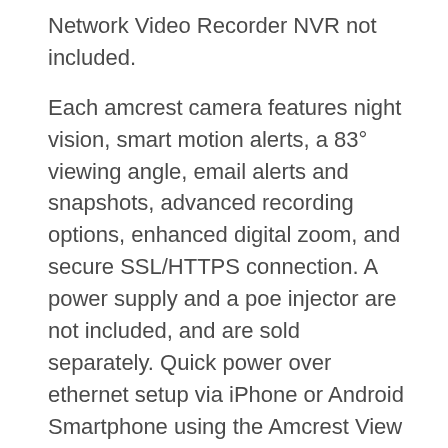Network Video Recorder NVR not included.
Each amcrest camera features night vision, smart motion alerts, a 83° viewing angle, email alerts and snapshots, advanced recording options, enhanced digital zoom, and secure SSL/HTTPS connection. A power supply and a poe injector are not included, and are sold separately. Quick power over ethernet setup via iPhone or Android Smartphone using the Amcrest View App Included.
Full 1-year us warranty and Lifetime Support Provided Directly from Amcrest.